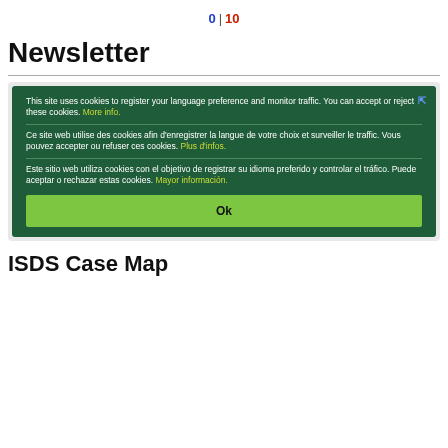0 | 10
Newsletter
[Figure (screenshot): Cookie consent dialog overlay on a dark green background. Contains three language versions (English, French, Spanish) of a cookie notice with yellow hyperlinks 'More info.', 'Plus d’infos.', 'Mayor información.' and a green 'Ok' button.]
ISDS Case Map